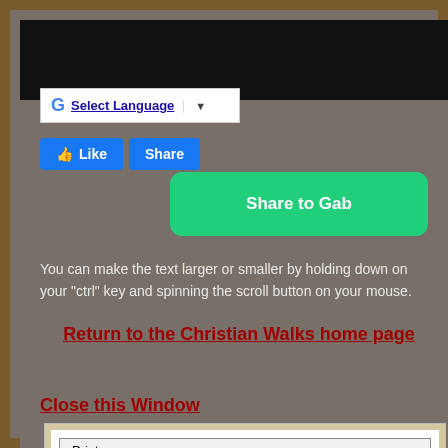[Figure (screenshot): Black banner at top of page, likely a navigation bar or header image]
[Figure (screenshot): Google Translate widget showing G logo and Select Language dropdown]
[Figure (screenshot): Facebook Like and Share buttons in blue]
[Figure (screenshot): Green Share to Gab button]
You can make the text larger or smaller by holding down on your "ctrl" key and spinning the scroll button on your mouse.
Return to the Christian Walks home page
Close this Window
Print
Giants / Nephilim